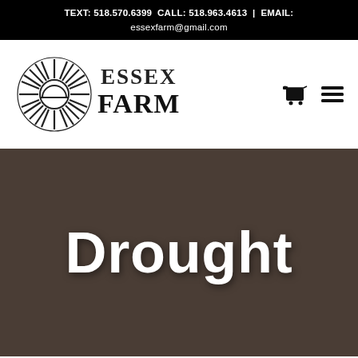TEXT: 518.570.6399 CALL: 518.963.4613 | EMAIL: essexfarm@gmail.com
[Figure (logo): Essex Farm logo with sunburst wheat graphic on the left and 'ESSEX FARM' text on the right in bold serif font]
Drought